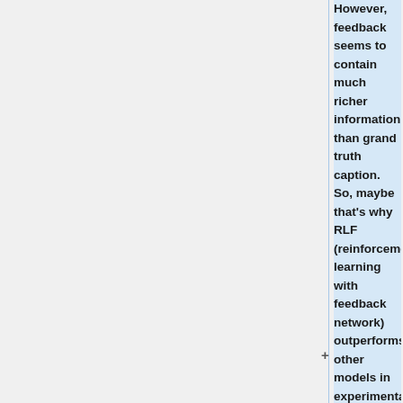However, feedback seems to contain much richer information than grand truth caption. So, maybe that's why RLF (reinforcement learning with feedback network) outperforms other models in experimental results. In addition, the hierarchical phrased based image captioning model does not